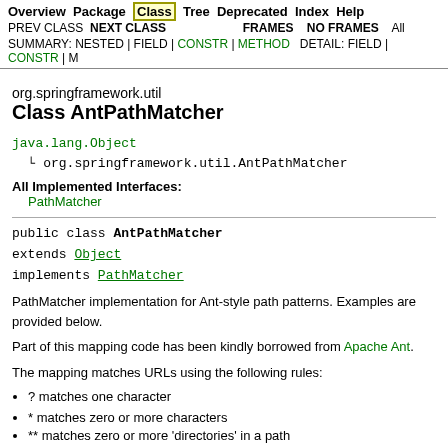Overview Package Class Tree Deprecated Index Help
PREV CLASS NEXT CLASS FRAMES NO FRAMES ALL
SUMMARY: NESTED | FIELD | CONSTR | METHOD DETAIL: FIELD | CONSTR | M
org.springframework.util
Class AntPathMatcher
java.lang.Object
  └ org.springframework.util.AntPathMatcher
All Implemented Interfaces:
      PathMatcher
public class AntPathMatcher
extends Object
implements PathMatcher
PathMatcher implementation for Ant-style path patterns. Examples are provided below.
Part of this mapping code has been kindly borrowed from Apache Ant.
The mapping matches URLs using the following rules:
? matches one character
* matches zero or more characters
** matches zero or more 'directories' in a path